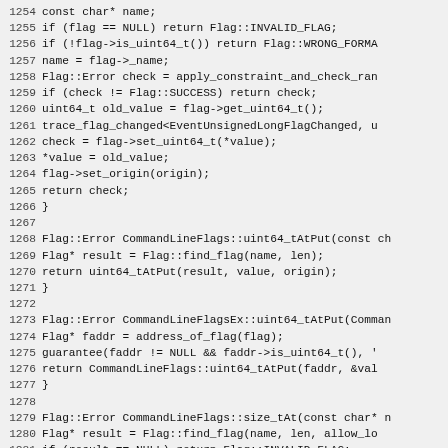Source code listing, lines 1254-1284, C++ code for CommandLineFlags functions including uint64_tAtPut and size_tAt methods.